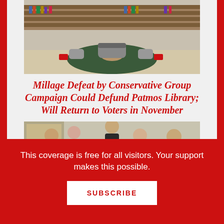[Figure (photo): Interior of a library with circular seating arrangement, chairs and sofas around a round area rug, bookshelves in the background]
Millage Defeat by Conservative Group Campaign Could Defund Patmos Library; Will Return to Voters in November
[Figure (photo): Group of people gathered around a table looking at documents, including men in suits and younger individuals]
This coverage is free for all visitors. Your support makes this possible.
SUBSCRIBE